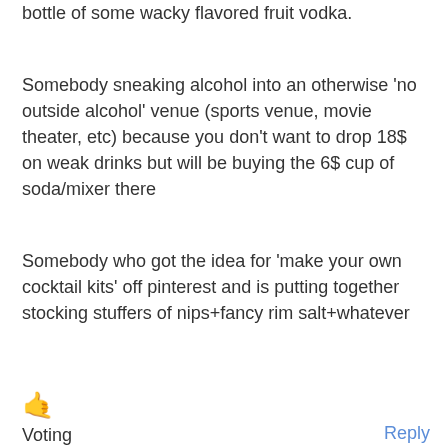bottle of some wacky flavored fruit vodka.
Somebody sneaking alcohol into an otherwise 'no outside alcohol' venue (sports venue, movie theater, etc) because you don't want to drop 18$ on weak drinks but will be buying the 6$ cup of soda/mixer there
Somebody who got the idea for 'make your own cocktail kits' off pinterest and is putting together stocking stuffers of nips+fancy rim salt+whatever
🤙 Voting closed 2
Reply